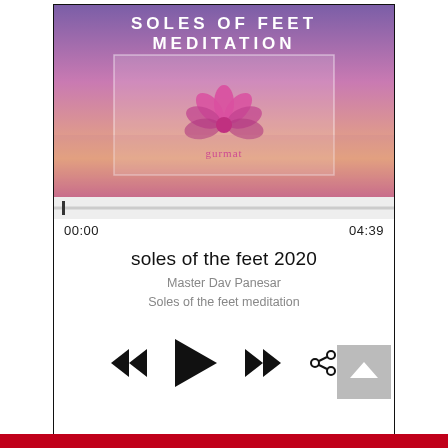[Figure (screenshot): Mobile audio player UI showing album art for 'Soles of Feet Meditation' with purple/pink gradient background, lotus logo and 'gurmat' text, progress bar at 00:00 of 04:39, track title 'soles of the feet 2020', artist/album info, and playback controls (skip back, play, skip forward, share) plus a scroll-to-top button]
soles of the feet 2020
Master Dav Panesar
Soles of the feet meditation
00:00	04:39